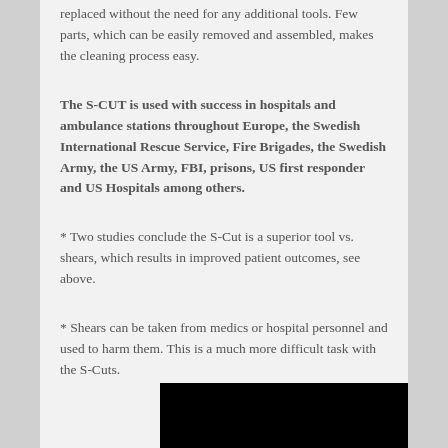replaced without the need for any additional tools. Few parts, which can be easily removed and assembled, makes the cleaning process easy.
The S-CUT is used with success in hospitals and ambulance stations throughout Europe, the Swedish International Rescue Service, Fire Brigades, the Swedish Army, the US Army, FBI, prisons, US first responder and US Hospitals among others.
* Two studies conclude the S-Cut is a superior tool vs. shears, which results in improved patient outcomes, see above.
* Shears can be taken from medics or hospital personnel and used to harm them. This is a much more difficult task with the S-Cuts.
[Figure (photo): Black rectangle at bottom right of page, partial image cut off]